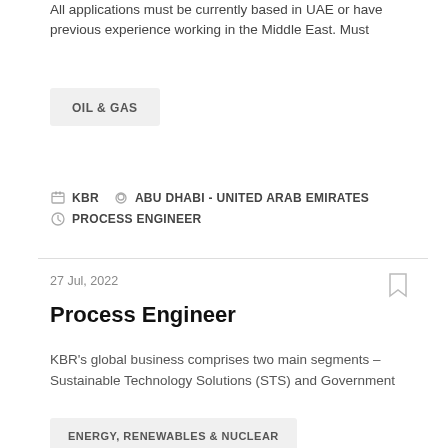All applications must be currently based in UAE or have previous experience working in the Middle East. Must
OIL & GAS
KBR   ABU DHABI - UNITED ARAB EMIRATES   PROCESS ENGINEER
27 Jul, 2022
Process Engineer
KBR's global business comprises two main segments – Sustainable Technology Solutions (STS) and Government
ENERGY, RENEWABLES & NUCLEAR